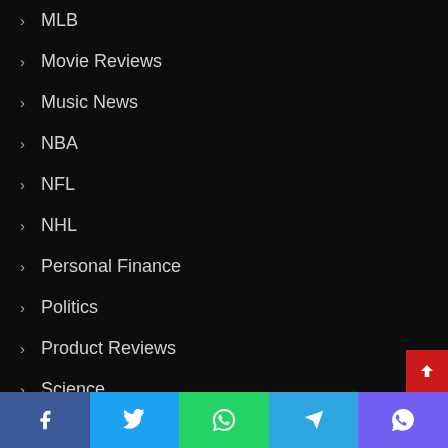MLB
Movie Reviews
Music News
NBA
NFL
NHL
Personal Finance
Politics
Product Reviews
Science
Soccer
Software
software